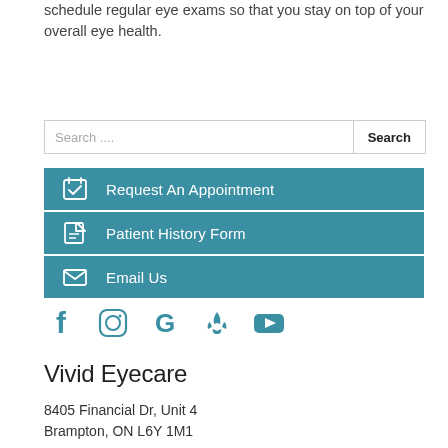schedule regular eye exams so that you stay on top of your overall eye health.
Search ....
Request An Appointment
Patient History Form
Email Us
[Figure (infographic): Social media icons: Facebook, Instagram, Google, Yelp, YouTube in teal color]
Vivid Eyecare
8405 Financial Dr, Unit 4
Brampton, ON L6Y 1M1